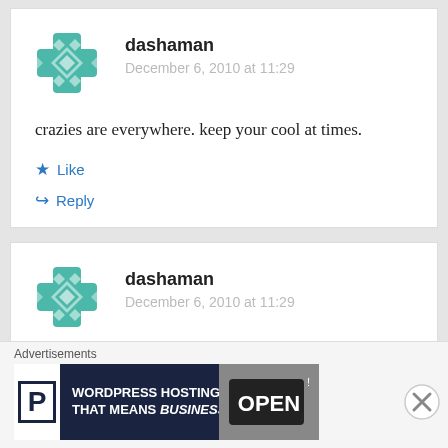dashaman
December 6, 2010 at 11:29
crazies are everywhere. keep your cool at times.
Like
Reply
dashaman
December 6, 2010 at 11:29
Advertisements
[Figure (other): WordPress Hosting advertisement banner: dark navy background with P logo box on left, text WORDPRESS HOSTING THAT MEANS BUSINESS. and photo of open sign on right]